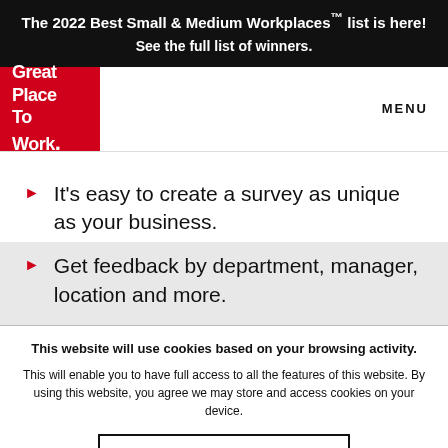The 2022 Best Small & Medium Workplaces™ list is here! See the full list of winners.
[Figure (logo): Great Place To Work logo — white text on red background]
MENU
It's easy to create a survey as unique as your business.
Get feedback by department, manager, location and more.
This website will use cookies based on your browsing activity.
This will enable you to have full access to all the features of this website. By using this website, you agree we may store and access cookies on your device.
I UNDERSTAND